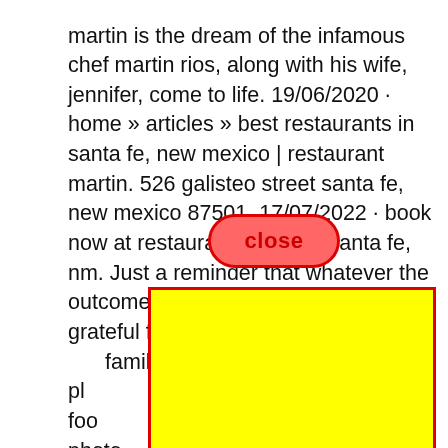martin is the dream of the infamous chef martin rios, along with his wife, jennifer, come to life. 19/06/2020 · home » articles » best restaurants in santa fe, new mexico | restaurant martin. 526 galisteo street santa fe, new mexico 87501. 17/07/2022 · book now at restaurant martin in santa fe, nm. Just a reminder that whatever the outcome is we are so very proud and grateful for the restaurant martin, to our family, our friends, for pla overall 2 food ee photos r that whate d of martin team, our fa ing him he restau conte ne 23, 2022. ome is
[Figure (other): A red-bordered oval 'close' button overlaying the text, and a large bright yellow rectangle with red border covering the lower portion of the text content.]